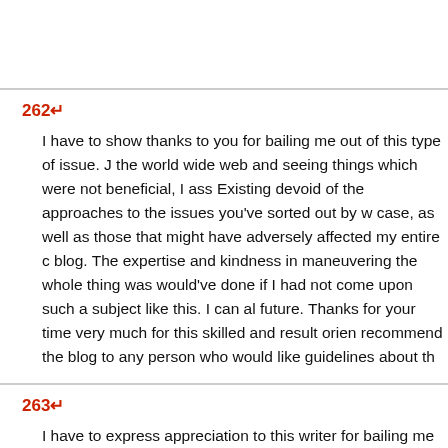262↵
I have to show thanks to you for bailing me out of this type of issue. Just browsing through the world wide web and seeing things which were not beneficial, I assumed my life was gone. Existing devoid of the approaches to the issues you've sorted out by way of your main website post is a critical case, as well as those that might have adversely affected my entire career if I had not discovered your blog. The expertise and kindness in maneuvering the whole thing was invaluable. I don't know what I would've done if I had not come upon such a subject like this. I can also at this time relish my future. Thanks for your time very much for this skilled and result oriented help. I won't hesitate to recommend the blog to any person who would like guidelines about this problem.
263↵
I have to express appreciation to this writer for bailing me out of this trouble. Just as a result of scouting through the search engines and getting tricks which were not pleasant, I thought my entire life was gone. Existing without the presence of solutions to the issues you've sorted out through your entire review is a crucial case, as well as the ones which...